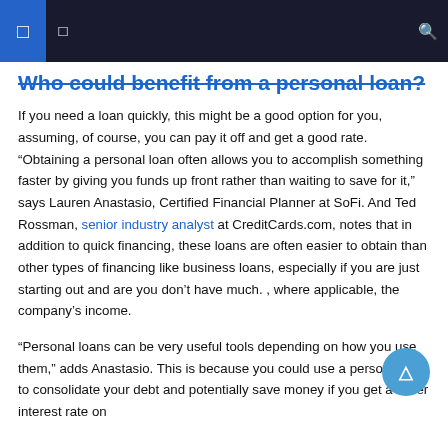Who could benefit from a personal loan?
Who could benefit from a personal loan?
If you need a loan quickly, this might be a good option for you, assuming, of course, you can pay it off and get a good rate. “Obtaining a personal loan often allows you to accomplish something faster by giving you funds up front rather than waiting to save for it,” says Lauren Anastasio, Certified Financial Planner at SoFi. And Ted Rossman, senior industry analyst at CreditCards.com, notes that in addition to quick financing, these loans are often easier to obtain than other types of financing like business loans, especially if you are just starting out and are you don’t have much. , where applicable, the company’s income.
“Personal loans can be very useful tools depending on how you use them,” adds Anastasio. This is because you could use a personal loan to consolidate your debt and potentially save money if you get a lower interest rate on